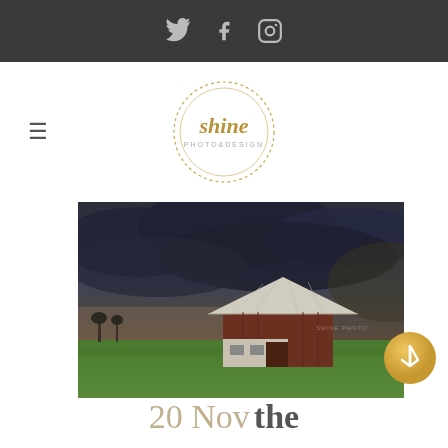Social media icons: Twitter, Facebook, Instagram
[Figure (logo): Shine Photo & Design circular logo with decorative dotted border and gold script lettering]
[Figure (photo): Photograph of an old red barn with white roof under dramatic dark storm clouds, with green fields in the foreground]
[Figure (other): Gold circle button with arrow/bookmark icon]
20 Nov the